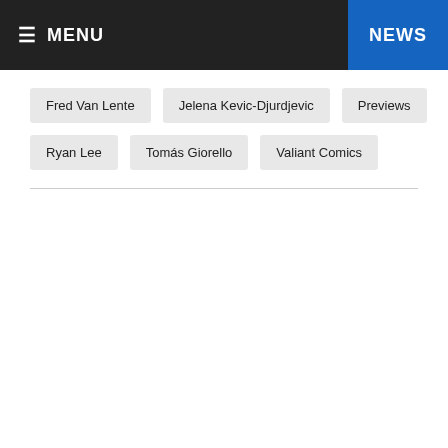☰ MENU | NEWS
Fred Van Lente
Jelena Kevic-Djurdjevic
Previews
Ryan Lee
Tomás Giorello
Valiant Comics